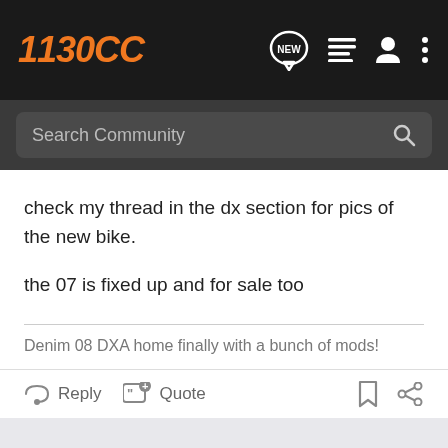1130CC
check my thread in the dx section for pics of the new bike.
the 07 is fixed up and for sale too
Denim 08 DXA home finally with a bunch of mods!
Reply  Quote